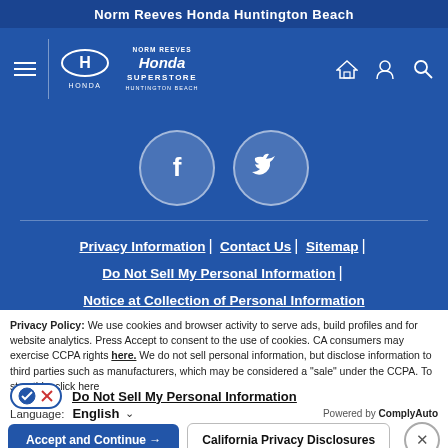Norm Reeves Honda Huntington Beach
[Figure (logo): Norm Reeves Honda Superstore Huntington Beach logo with Honda H emblem]
[Figure (illustration): Facebook and Twitter social media icon circles]
Privacy Information | Contact Us | Sitemap | Do Not Sell My Personal Information | Notice at Collection of Personal Information
Privacy Policy: We use cookies and browser activity to serve ads, build profiles and for website analytics. Press Accept to consent to the use of cookies. CA consumers may exercise CCPA rights here. We do not sell personal information, but disclose information to third parties such as manufacturers, which may be considered a "sale" under the CCPA. To stop this, click here
Do Not Sell My Personal Information
Language: English ⌄  Powered by ComplyAuto
Accept and Continue →  California Privacy Disclosures